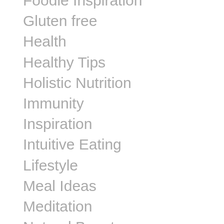Foodie Inspiration
Gluten free
Health
Healthy Tips
Holistic Nutrition
Immunity
Inspiration
Intuitive Eating
Lifestyle
Meal Ideas
Meditation
Natural Beauty
plant based
Pregnancy
Raw